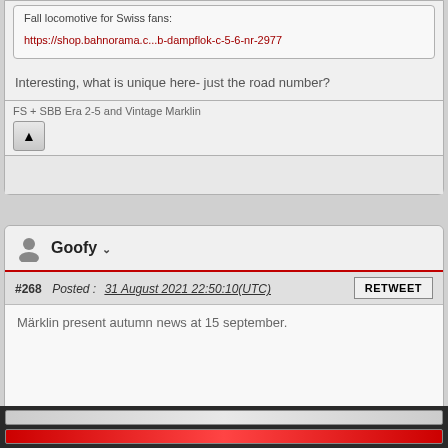Fall locomotive for Swiss fans:
https://shop.bahnorama.c...b-dampflok-c-5-6-nr-2977
Interesting, what is unique here- just the road number?
FS + SBB Era 2-5 and Vintage Marklin
Goofy
#268  Posted : 31 August 2021 22:50:10(UTC)
RETWEET
Märklin present autumn news at 15 september.